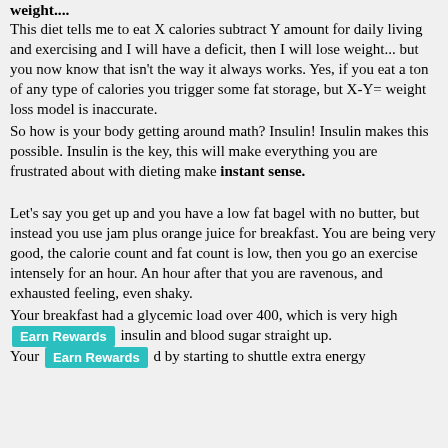weight....
This diet tells me to eat X calories subtract Y amount for daily living and exercising and I will have a deficit, then I will lose weight... but you now know that isn't the way it always works. Yes, if you eat a ton of any type of calories you trigger some fat storage, but X-Y= weight loss model is inaccurate.
So how is your body getting around math? Insulin! Insulin makes this possible. Insulin is the key, this will make everything you are frustrated about with dieting make instant sense.

Let's say you get up and you have a low fat bagel with no butter, but instead you use jam plus orange juice for breakfast. You are being very good, the calorie count and fat count is low, then you go an exercise intensely for an hour. An hour after that you are ravenous, and exhausted feeling, even shaky.
Your breakfast had a glycemic load over 400, which is very high [Earn Rewards] insulin and blood sugar straight up.
Your [Earn Rewards] d by starting to shuttle extra energy